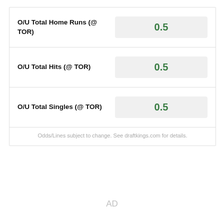| Bet | Line |
| --- | --- |
| O/U Total Home Runs (@ TOR) | 0.5 |
| O/U Total Hits (@ TOR) | 0.5 |
| O/U Total Singles (@ TOR) | 0.5 |
Odds/Lines subject to change. See draftkings.com for details.
AD